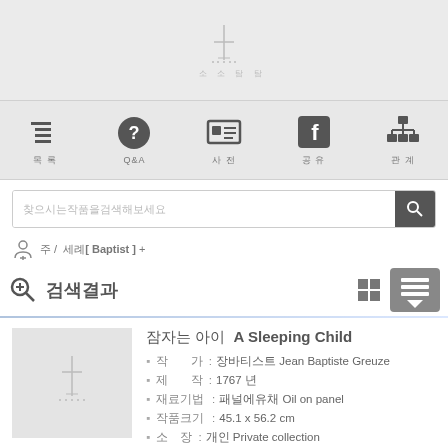[Figure (logo): Website header logo with stylized vertical line/cross motif and small decorative text beneath]
Navigation bar with icons: menu list, Q&A (question mark), ID/profile card, Facebook, network/sitemap
搜尋 placeholder text in search bar
주 / 세례[ Baptist ] +
검색결과
잠자는 아이  A Sleeping Child
작 가 : 장바티스트 Jean Baptiste Greuze
제 작 : 1767 년
재료기법 : 패널에유채 Oil on panel
작품크기 : 45.1 x 56.2 cm
소 장 : 개인 Private collection